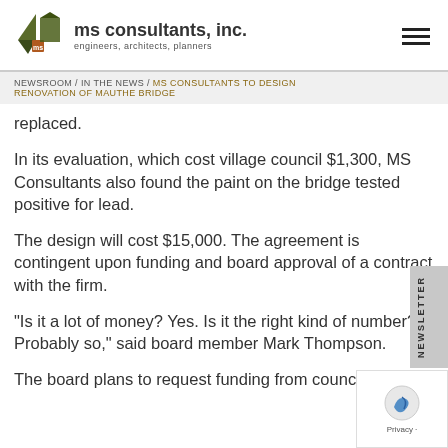ms consultants, inc. — engineers, architects, planners
NEWSROOM / IN THE NEWS / MS CONSULTANTS TO DESIGN RENOVATION OF MAUTHE BRIDGE
replaced.
In its evaluation, which cost village council $1,300, MS Consultants also found the paint on the bridge tested positive for lead.
The design will cost $15,000. The agreement is contingent upon funding and board approval of a contract with the firm.
"Is it a lot of money? Yes. Is it the right kind of number? Probably so," said board member Mark Thompson.
The board plans to request funding from council